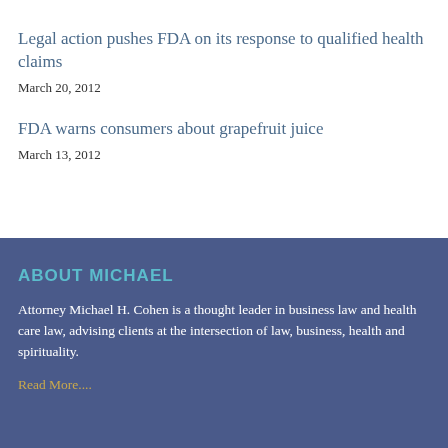Legal action pushes FDA on its response to qualified health claims
March 20, 2012
FDA warns consumers about grapefruit juice
March 13, 2012
ABOUT MICHAEL
Attorney Michael H. Cohen is a thought leader in business law and health care law, advising clients at the intersection of law, business, health and spirituality.
Read More....